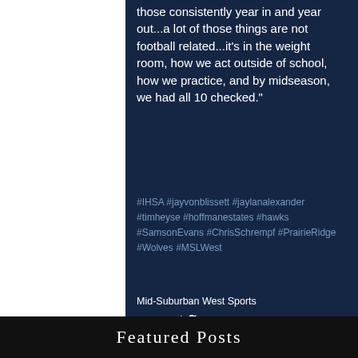those consistently year in and year out...a lot of those things are not football related...it's in the weight room, how we act outside of school, how we practice, and by midseason, we had all 10 checked."
#IHSA #jayvonblissett #jaylanalexander #timheyse #hoffmanestates #hawks #SamsonEvans #ChrisSchrempf #PrairieRidge #Wolves #MSLWest
Mid-Suburban West Sports
[Figure (other): Social share icons: Facebook (f), Twitter (bird), LinkedIn (in)]
[Figure (other): Heart/like icon outline in red]
Featured Posts
[Figure (photo): Football field grass with white yard line markings visible on the right side of the page]